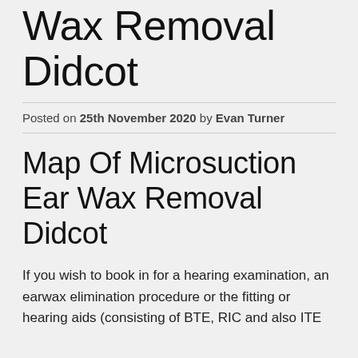Microsuction Ear Wax Removal Didcot
Posted on 25th November 2020 by Evan Turner
Map Of Microsuction Ear Wax Removal Didcot
If you wish to book in for a hearing examination, an earwax elimination procedure or the fitting or hearing aids (consisting of BTE, RIC and also ITE